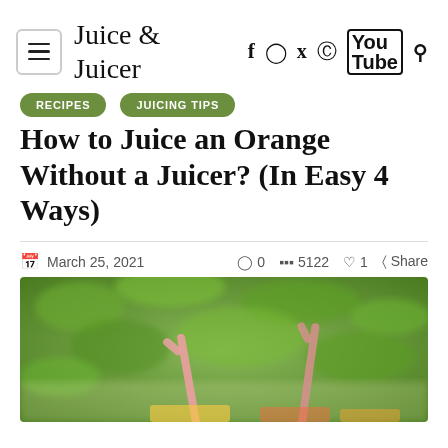Juice & Juicer
RECIPES
JUICING TIPS
How to Juice an Orange Without a Juicer? (In Easy 4 Ways)
March 25, 2021  0  5122  1  Share
[Figure (photo): A blurred green leafy background with two pink/rose-gold straws in glasses of juice, partially visible at the bottom of the image.]